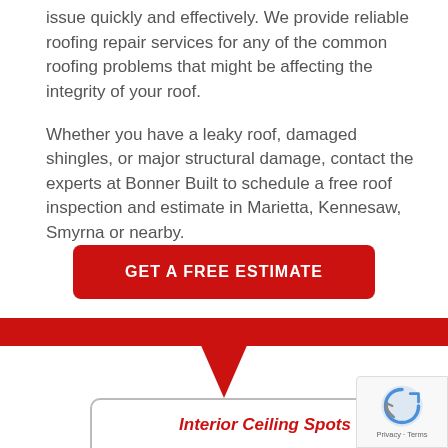issue quickly and effectively. We provide reliable roofing repair services for any of the common roofing problems that might be affecting the integrity of your roof.
Whether you have a leaky roof, damaged shingles, or major structural damage, contact the experts at Bonner Built to schedule a free roof inspection and estimate in Marietta, Kennesaw, Smyrna or nearby.
GET A FREE ESTIMATE
[Figure (infographic): Red horizontal banner with a downward-pointing red arrow/chevron below it, forming a section divider]
Interior Ceiling Spots